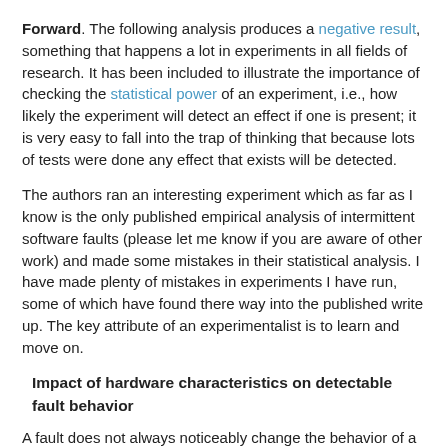Forward. The following analysis produces a negative result, something that happens a lot in experiments in all fields of research. It has been included to illustrate the importance of checking the statistical power of an experiment, i.e., how likely the experiment will detect an effect if one is present; it is very easy to fall into the trap of thinking that because lots of tests were done any effect that exists will be detected.
The authors ran an interesting experiment which as far as I know is the only published empirical analysis of intermittent software faults (please let me know if you are aware of other work) and made some mistakes in their statistical analysis. I have made plenty of mistakes in experiments I have run, some of which have found there way into the published write up. The key attribute of an experimentalist is to learn and move on.
Impact of hardware characteristics on detectable fault behavior
A fault does not always noticeably change the behavior of a program when it is executed, apparently correct program execution can occur in the presence of serious faults.
A study by Syed, Robinson and Williams investigated how the number of noticeable failures caused by known faults in Mozilla's Firefox browser varied with...